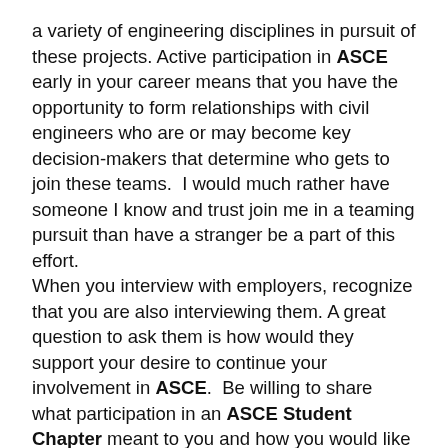a variety of engineering disciplines in pursuit of these projects. Active participation in ASCE early in your career means that you have the opportunity to form relationships with civil engineers who are or may become key decision-makers that determine who gets to join these teams.  I would much rather have someone I know and trust join me in a teaming pursuit than have a stranger be a part of this effort.
When you interview with employers, recognize that you are also interviewing them. A great question to ask them is how would they support your desire to continue your involvement in ASCE.  Be willing to share what participation in an ASCE Student Chapter meant to you and how you would like to continue that in your professional career.  Their answer will provide valuable insight into their perspective on growing and developing their staff. In addition, you will signal to them that you want to take an active role in having a successful career. Knowing that newly hired graduating engineers have a significant number of activities on their plate as they start